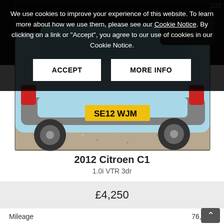[Figure (screenshot): Screenshot of a car listing website showing a light blue 2012 Citroen C1 with UK number plate SE12 WJM, viewed from the rear, parked on gravel.]
We use cookies to improve your experience of this website. To learn more about how we use them, please see our Cookie Notice. By clicking on a link or "Accept", you agree to our use of cookies in our Cookie Notice.
ACCEPT
MORE INFO
2012 Citroen C1
1.0i VTR 3dr
£4,250
|  |  |
| --- | --- |
| Mileage | 76,000 |
| Engine Size | 998cc |